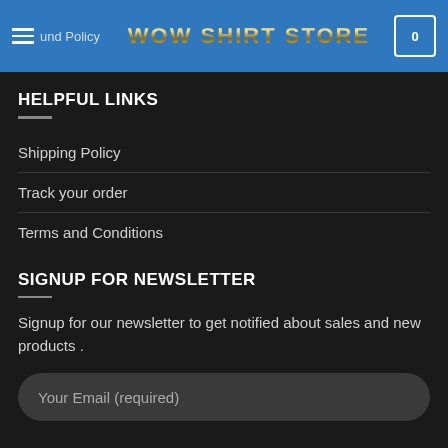und Policy  WOW SHIRT STORE  0
HELPFUL LINKS
Shipping Policy
Track your order
Terms and Conditions
SIGNUP FOR NEWSLETTER
Signup for our newsletter to get notified about sales and new products .
Your Email (required)